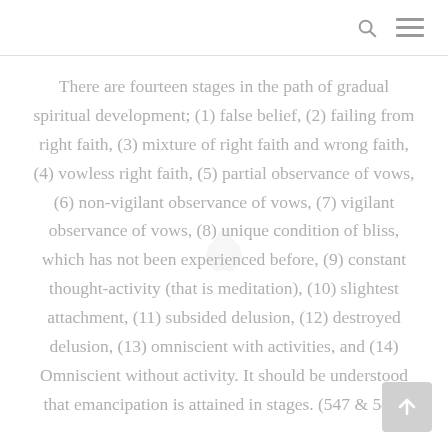There are fourteen stages in the path of gradual spiritual development; (1) false belief, (2) failing from right faith, (3) mixture of right faith and wrong faith, (4) vowless right faith, (5) partial observance of vows, (6) non-vigilant observance of vows, (7) vigilant observance of vows, (8) unique condition of bliss, which has not been experienced before, (9) constant thought-activity (that is meditation), (10) slightest attachment, (11) subsided delusion, (12) destroyed delusion, (13) omniscient with activities, and (14) Omniscient without activity. It should be understood that emancipation is attained in stages. (547 & 548)